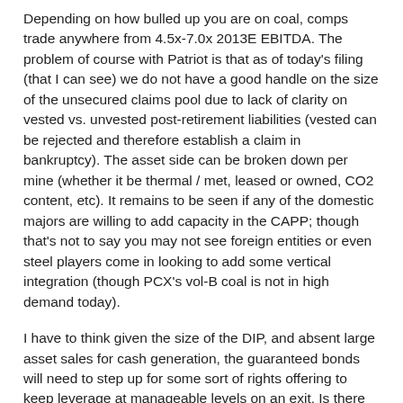Depending on how bulled up you are on coal, comps trade anywhere from 4.5x-7.0x 2013E EBITDA. The problem of course with Patriot is that as of today's filing (that I can see) we do not have a good handle on the size of the unsecured claims pool due to lack of clarity on vested vs. unvested post-retirement liabilities (vested can be rejected and therefore establish a claim in bankruptcy). The asset side can be broken down per mine (whether it be thermal / met, leased or owned, CO2 content, etc). It remains to be seen if any of the domestic majors are willing to add capacity in the CAPP; though that's not to say you may not see foreign entities or even steel players come in looking to add some vertical integration (though PCX's vol-B coal is not in high demand today).
I have to think given the size of the DIP, and absent large asset sales for cash generation, the guaranteed bonds will need to step up for some sort of rights offering to keep leverage at manageable levels on an exit. Is there any sort of litigation strategy for the converts against the syndicate that was leading the term loan syndication a month ago or even